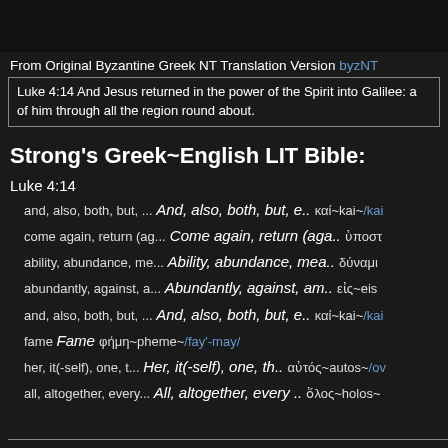From Original Byzantine Greek NT Translation Version byzNT
Luke 4:14 And Jesus returned in the power of the Spirit into Galilee: and a fame went out of him through all the region round about.
Strong's Greek~English LIT Bible:
Luke 4:14
and, also, both, but, ...  And, also, both, but, e..  καί~kai~/kai/
come again, return (ag...  Come again, return (aga..  ὑποστρέφω~...
ability, abundance, me...  Ability, abundance, mea..  δύναμις~...
abundantly, against, a...  Abundantly, against, am..  εἰς~eis
and, also, both, but, ...  And, also, both, but, e..  καί~kai~/kai/
fame  Fame  φήμη~pheme~/fay'-may/
her, it(-self), one, t...  Her, it(-self), one, th..  αὐτός~autos~/ow...
all, altogether, every...  All, altogether, every ..  ὅλος~holos~